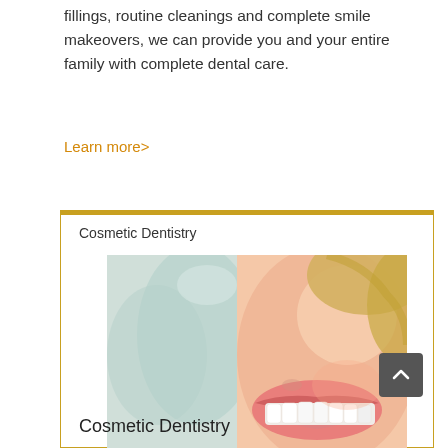fillings, routine cleanings and complete smile makeovers, we can provide you and your entire family with complete dental care.
Learn more>
Cosmetic Dentistry
[Figure (photo): Close-up photo of a smiling woman with bright white teeth, dental office background]
Cosmetic Dentistry